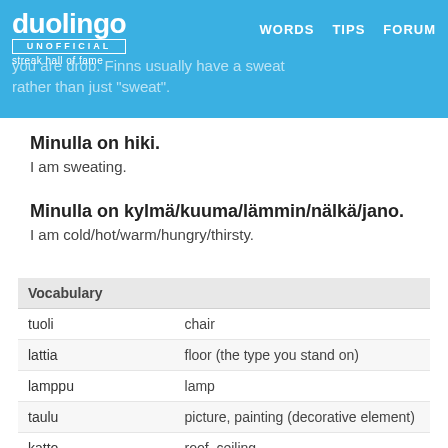duolingo UNOFFICIAL streak hall of fame | WORDS TIPS FORUM
you are drob. Finns usually have a sweat rather than just sweat.
Minulla on hiki.
I am sweating.
Minulla on kylmä/kuuma/lämmin/nälkä/jano.
I am cold/hot/warm/hungry/thirsty.
| Vocabulary |  |
| --- | --- |
| tuoli | chair |
| lattia | floor (the type you stand on) |
| lamppu | lamp |
| taulu | picture, painting (decorative element) |
| katto | roof, ceiling |
| kello | clock, watch |
| hiki | sweat |
| halpa | cheap |
| sotkuinen | messy |